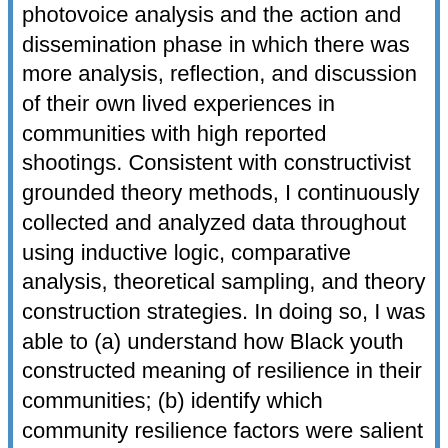photovoice analysis and the action and dissemination phase in which there was more analysis, reflection, and discussion of their own lived experiences in communities with high reported shootings. Consistent with constructivist grounded theory methods, I continuously collected and analyzed data throughout using inductive logic, comparative analysis, theoretical sampling, and theory construction strategies. In doing so, I was able to (a) understand how Black youth constructed meaning of resilience in their communities; (b) identify which community resilience factors were salient for Black youth and how these factors promoted a sense of well-being within Black communities; and ultimately (c) co-construct a preliminary model of community resilience processes.
Based on three years of continuous data collection and analysis in the #PowerUp project, preliminary results showed that there are multiple community processes that help people navigate and cope with the challenges related to gun violence. Ultimately, there was one core